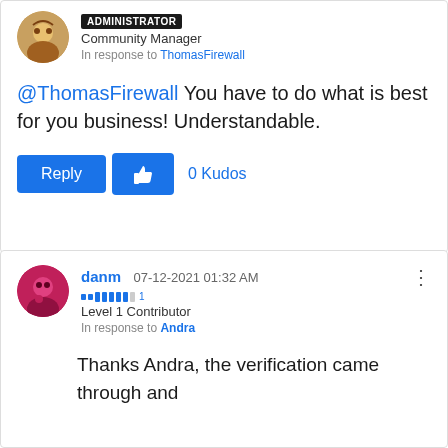ADMINISTRATOR
Community Manager
In response to ThomasFirewall
@ThomasFirewall You have to do what is best for you business! Understandable.
0 Kudos
danm  07-12-2021 01:32 AM
Level 1 Contributor
In response to Andra
Thanks Andra, the verification came through and